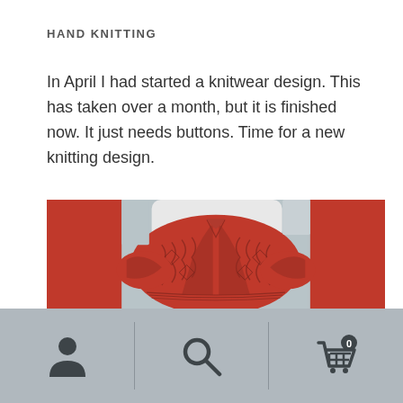HAND KNITTING
In April I had started a knitwear design. This has taken over a month, but it is finished now. It just needs buttons. Time for a new knitting design.
[Figure (photo): A red hand-knitted cardigan with intricate cable and lace pattern displayed on a white chair.]
Navigation bar with user icon, search icon, and cart icon showing 0 items.